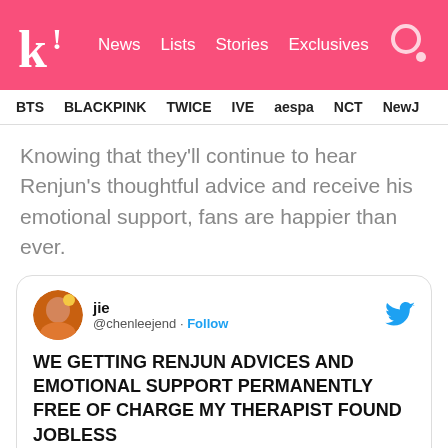kk! News  Lists  Stories  Exclusives
BTS  BLACKPINK  TWICE  IVE  aespa  NCT  NewJ
Knowing that they'll continue to hear Renjun's thoughtful advice and receive his emotional support, fans are happier than ever.
[Figure (screenshot): Tweet by @chenleejend (jie) with Twitter bird icon. Tweet text: WE GETTING RENJUN ADVICES AND EMOTIONAL SUPPORT PERMANENTLY FREE OF CHARGE MY THERAPIST FOUND JOBLESS. Posted 1:08 PM · Sep 20, 2019]